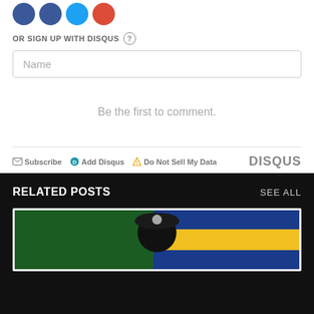[Figure (other): Social media sign-in icons (Facebook, Twitter, Twitter, Google+) as colored circles]
OR SIGN UP WITH DISQUS ?
Name
Be the first to comment.
Subscribe  Add Disqus  Do Not Sell My Data  DISQUS
RELATED POSTS
SEE ALL
[Figure (photo): A person wearing a military beret with an emblem, with green and blue/yellow flags in the background]